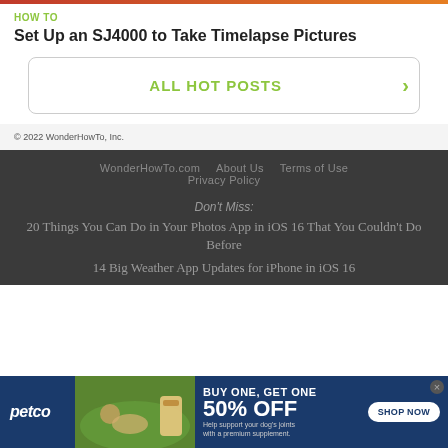HOW TO
Set Up an SJ4000 to Take Timelapse Pictures
ALL HOT POSTS →
© 2022 WonderHowTo, Inc.
WonderHowTo.com   About Us   Terms of Use   Privacy Policy
Don't Miss:
20 Things You Can Do in Your Photos App in iOS 16 That You Couldn't Do Before
14 Big Weather App Updates for iPhone in iOS 16
[Figure (photo): Petco advertisement banner: BUY ONE, GET ONE 50% OFF - Help support your dog's joints with a premium supplement. SHOP NOW button. Shows woman with dog and supplement product.]